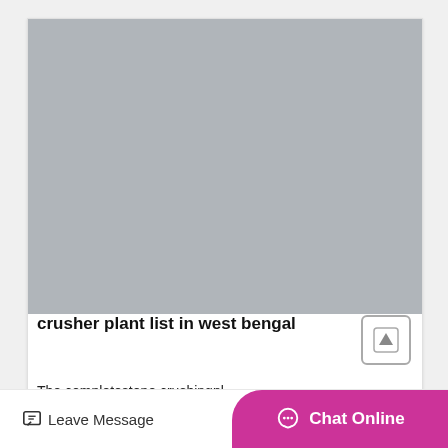[Figure (photo): Gray placeholder image rectangle at top of card]
crusher plant list in west bengal
The completestone crushingpl...
Leave Message
Chat Online